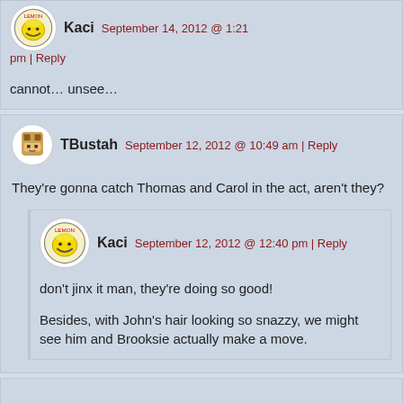Kaci   September 14, 2012 @ 1:21 pm | Reply
cannot… unsee…
TBustah   September 12, 2012 @ 10:49 am | Reply
They're gonna catch Thomas and Carol in the act, aren't they?
Kaci   September 12, 2012 @ 12:40 pm | Reply
don't jinx it man, they're doing so good!
Besides, with John's hair looking so snazzy, we might see him and Brooksie actually make a move.